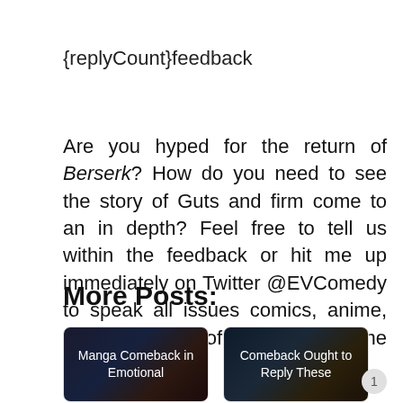{replyCount}feedback
Are you hyped for the return of Berserk? How do you need to see the story of Guts and firm come to an in depth? Feel free to tell us within the feedback or hit me up immediately on Twitter @EVComedy to speak all issues comics, anime, and the world of the Band of the Hawk.
More Posts:
[Figure (illustration): Card thumbnail with dark background showing manga/anime art, labeled 'Manga Comeback in Emotional']
[Figure (illustration): Card thumbnail with dark background showing manga/anime art, labeled 'Comeback Ought to Reply These']